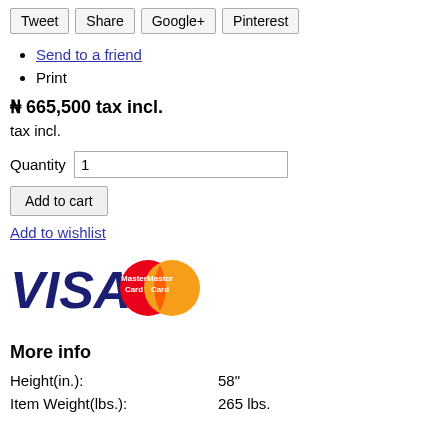Tweet | Share | Google+ | Pinterest
Send to a friend
Print
₦ 665,500 tax incl.
tax incl.
Quantity 1
Add to cart
Add to wishlist
[Figure (logo): VISA and MasterCard payment logos]
More info
| Height(in.): | 58" |
| Item Weight(lbs.): | 265 lbs. |